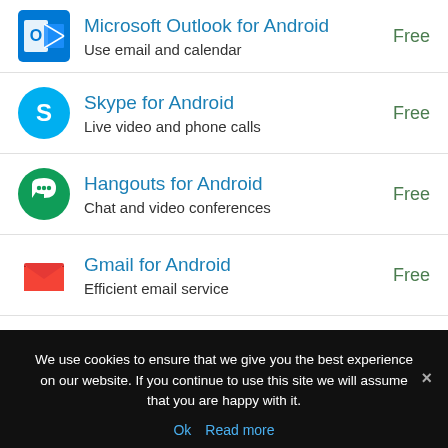Microsoft Outlook for Android — Free
Use email and calendar
Skype for Android — Free
Live video and phone calls
Hangouts for Android — Free
Chat and video conferences
Gmail for Android — Free
Efficient email service
We use cookies to ensure that we give you the best experience on our website. If you continue to use this site we will assume that you are happy with it.
Ok  Read more